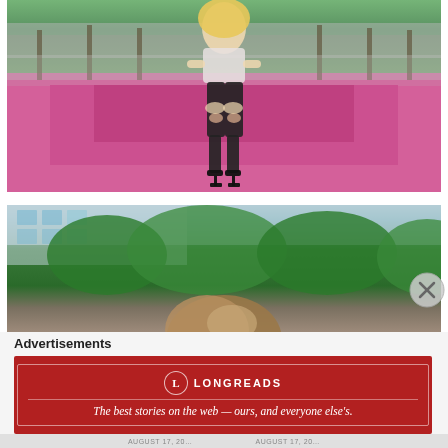[Figure (photo): A young blonde woman in a white top, black ripped jeans, and black heeled sandals, sitting on a pink stepped concrete structure outdoors with trees in the background]
[Figure (photo): A woman with brown hair viewed from above and behind outdoors, with green trees and a modern glass building in the background]
Advertisements
[Figure (illustration): Longreads advertisement banner with red background, featuring the Longreads logo and tagline: The best stories on the web — ours, and everyone else's.]